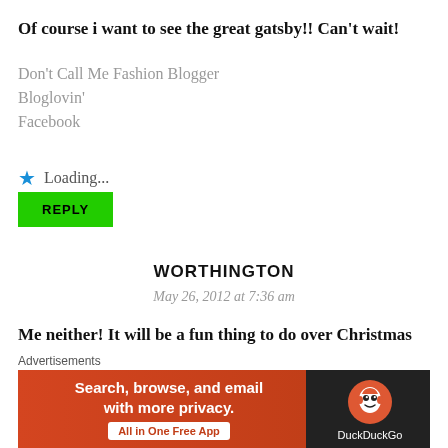Of course i want to see the great gatsby!! Can't wait!
Don't Call Me Fashion Blogger
Bloglovin'
Facebook
★ Loading...
REPLY
WORTHINGTON
May 26, 2012 at 7:36 am
Me neither! It will be a fun thing to do over Christmas
Advertisements
[Figure (other): DuckDuckGo advertisement banner: orange background on left with text 'Search, browse, and email with more privacy. All in One Free App', dark background on right with DuckDuckGo logo and name]